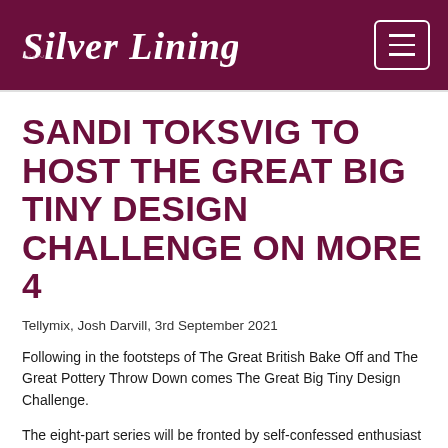Silver Lining
SANDI TOKSVIG TO HOST THE GREAT BIG TINY DESIGN CHALLENGE ON MORE 4
Tellymix, Josh Darvill, 3rd September 2021
Following in the footsteps of The Great British Bake Off and The Great Pottery Throw Down comes The Great Big Tiny Design Challenge.
The eight-part series will be fronted by self-confessed enthusiast & collector of miniatures Sandi Toksvig.
Channel 4 shares: “This epic competition will challenge designers to